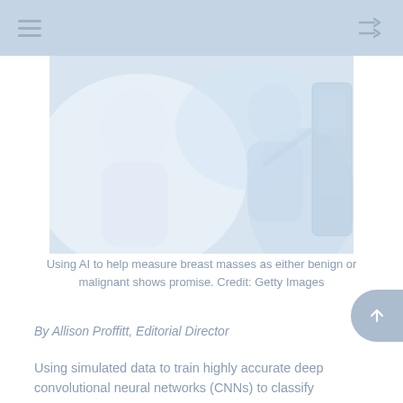[Figure (photo): A woman (doctor or technician) pointing at a medical diagram or display board showing a human body, in a clinical or educational setting. The image has a faded, light blue-tinted appearance.]
Using AI to help measure breast masses as either benign or malignant shows promise. Credit: Getty Images
By Allison Proffitt, Editorial Director
Using simulated data to train highly accurate deep convolutional neural networks (CNNs) to classify